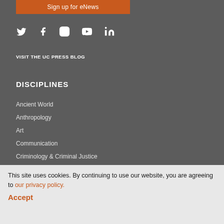Sign up for eNews
[Figure (infographic): Social media icons: Twitter, Facebook, Instagram, YouTube, LinkedIn in white]
VISIT THE UC PRESS BLOG
DISCIPLINES
Ancient World
Anthropology
Art
Communication
Criminology & Criminal Justice
Film & Media Studies
This site uses cookies. By continuing to use our website, you are agreeing to our privacy policy.
Accept